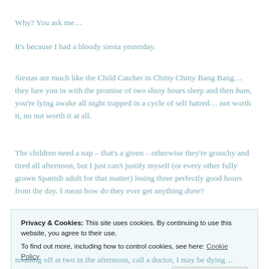Why? You ask me…
It's because I had a bloody siesta yesterday.
Siestas are much like the Child Catcher in Chitty Chitty Bang Bang… they lure you in with the promise of two shiny hours sleep and then bam, you're lying awake all night trapped in a cycle of self hatred… not worth it, no not worth it at all.
The children need a nap – that's a given – otherwise they're grouchy and tired all afternoon, but I just can't justify myself (or every other fully grown Spanish adult for that matter) losing three perfectly good hours from the day. I mean how do they ever get anything done?
Privacy & Cookies: This site uses cookies. By continuing to use this website, you agree to their use.
To find out more, including how to control cookies, see here: Cookie Policy
nodding off at two in the afternoon, call a doctor, I may be dying…